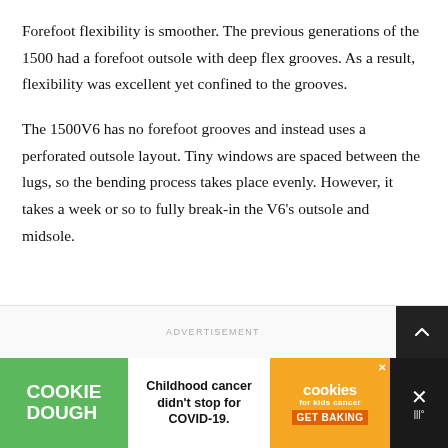Forefoot flexibility is smoother. The previous generations of the 1500 had a forefoot outsole with deep flex grooves. As a result, flexibility was excellent yet confined to the grooves.
The 1500V6 has no forefoot grooves and instead uses a perforated outsole layout. Tiny windows are spaced between the lugs, so the bending process takes place evenly. However, it takes a week or so to fully break-in the V6’s outsole and midsole.
ADVERTISEMENT
[Figure (infographic): Advertisement banner at the bottom of the page showing Cookie Dough brand (green background), text 'Childhood cancer didn’t stop for COVID-19.', a cookies for kids cancer badge (orange), and a dark section with X icon.]